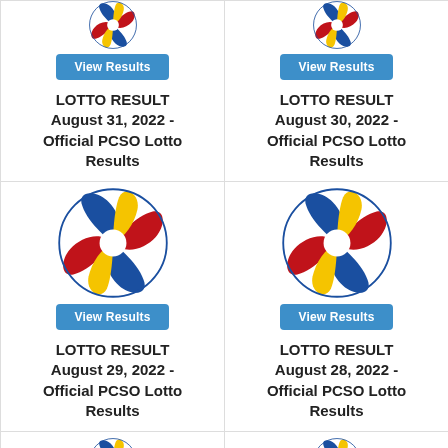[Figure (logo): PCSO lotto logo (partial, top of card) for August 31, 2022]
[Figure (logo): PCSO lotto logo (partial, top of card) for August 30, 2022]
View Results
View Results
LOTTO RESULT August 31, 2022 - Official PCSO Lotto Results
LOTTO RESULT August 30, 2022 - Official PCSO Lotto Results
[Figure (logo): PCSO lotto logo for August 29, 2022]
[Figure (logo): PCSO lotto logo for August 28, 2022]
View Results
View Results
LOTTO RESULT August 29, 2022 - Official PCSO Lotto Results
LOTTO RESULT August 28, 2022 - Official PCSO Lotto Results
[Figure (logo): PCSO lotto logo (partial, bottom of page) for next entry]
[Figure (logo): PCSO lotto logo (partial, bottom of page) for next entry]